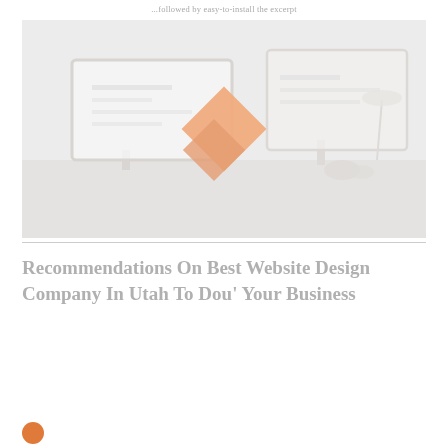...followed by easy-to-install the excerpt
[Figure (photo): Faded/washed-out photo of a desktop workspace with two monitors and an orange diamond logo/icon overlaid in the center.]
Recommendations On Best Website Design Company In Utah To Dou' Your Business